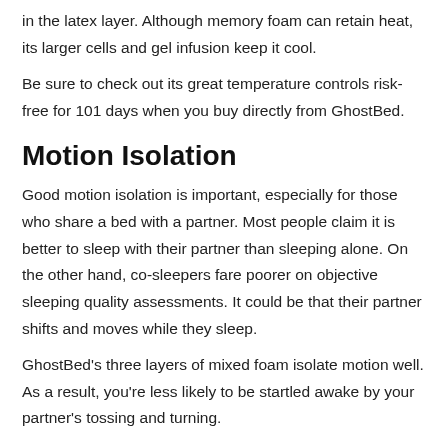in the latex layer. Although memory foam can retain heat, its larger cells and gel infusion keep it cool.
Be sure to check out its great temperature controls risk-free for 101 days when you buy directly from GhostBed.
Motion Isolation
Good motion isolation is important, especially for those who share a bed with a partner. Most people claim it is better to sleep with their partner than sleeping alone. On the other hand, co-sleepers fare poorer on objective sleeping quality assessments. It could be that their partner shifts and moves while they sleep.
GhostBed's three layers of mixed foam isolate motion well. As a result, you're less likely to be startled awake by your partner's tossing and turning.
The latex layer and memory foam absorb movement, resulting in